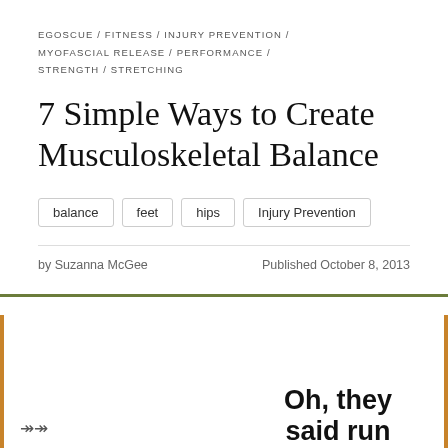EGOSCUE / FITNESS / INJURY PREVENTION / MYOFASCIAL RELEASE / PERFORMANCE / STRENGTH / STRETCHING
7 Simple Ways to Create Musculoskeletal Balance
balance
feet
hips
Injury Prevention
by Suzanna McGee   Published October 8, 2013
[Figure (other): Advertisement or promotional image with bold text reading 'Oh, they said run']